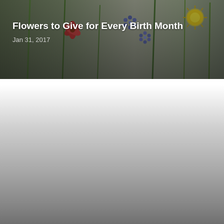[Figure (photo): Article card with flower photo showing various colorful flowers including red lily, blue/purple flowers, and yellow dandelion on a muted green background. Title overlay reads 'Flowers to Give for Every Birth Month' with date 'Jan 31, 2017'.]
Flowers to Give for Every Birth Month
Jan 31, 2017
[Figure (photo): Article card with mostly white/grey gradient background (image loading placeholder or faded photo). Title overlay reads 'Five Must Plant Daisies for Your Own Garden' with partially visible date.]
Five Must Plant Daisies for Your Own Garden
Jul 12, 2016